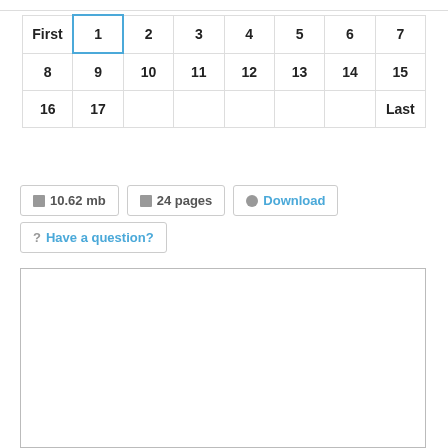| First | 1 | 2 | 3 | 4 | 5 | 6 | 7 |
| 8 | 9 | 10 | 11 | 12 | 13 | 14 | 15 |
| 16 | 17 |  |  |  |  |  | Last |
10.62 mb
24 pages
Download
Have a question?
[Figure (other): White rectangular preview area with border]